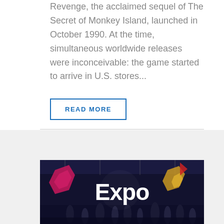Revenge, the acclaimed sequel of The Secret of Monkey Island, launched in October 1990. At the time, simultaneous worldwide releases were inconceivable: the game started to arrive in U.S. stores...
READ MORE
[Figure (photo): Photo of an Expo event entrance with large white 'Expo' text on a dark background with colorful geometric shapes (pink/magenta hexagons and yellow/gold geometric accents), and blurred crowd of people in the foreground.]